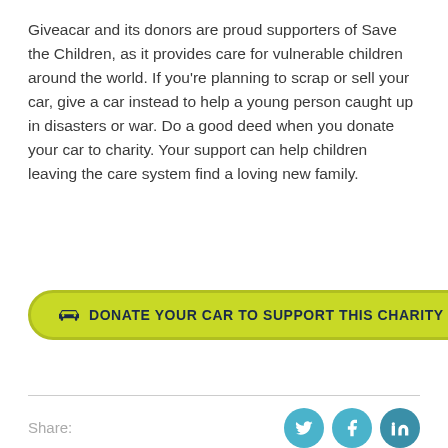Giveacar and its donors are proud supporters of Save the Children, as it provides care for vulnerable children around the world. If you're planning to scrap or sell your car, give a car instead to help a young person caught up in disasters or war. Do a good deed when you donate your car to charity. Your support can help children leaving the care system find a loving new family.
[Figure (other): Green pill-shaped button with car icon and text: DONATE YOUR CAR TO SUPPORT THIS CHARITY]
Share:
[Figure (other): Social media icons: Twitter, Facebook, LinkedIn in teal/blue circles]